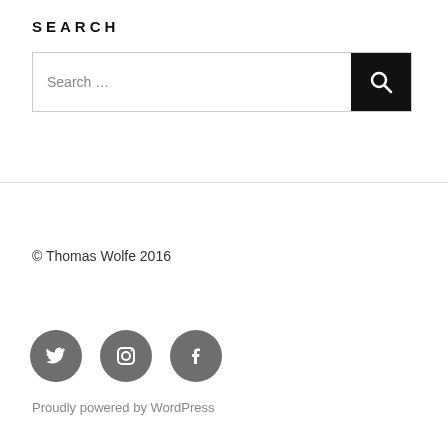SEARCH
[Figure (other): Search input box with placeholder text 'Search ...' and a black search button with magnifying glass icon]
© Thomas Wolfe 2016
[Figure (other): Three grey circular social media icons: Twitter (bird), Instagram (camera), Facebook (f)]
Proudly powered by WordPress